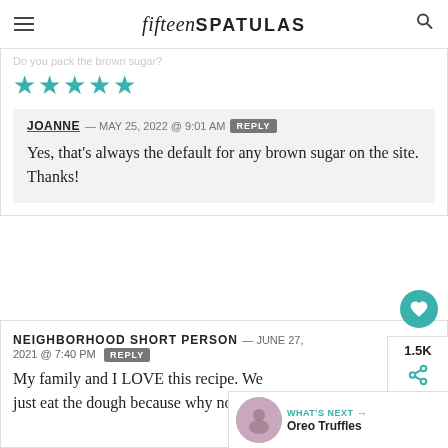fifteen SPATULAS
Do you pack the brown sugar?
[Figure (other): Five teal/green star rating icons]
JOANNE — MAY 25, 2022 @ 9:01 AM REPLY
Yes, that's always the default for any brown sugar on the site. Thanks!
NEIGHBORHOOD SHORT PERSON — JUNE 27, 2021 @ 7:40 PM REPLY
My family and I LOVE this recipe. We just eat the dough because why not, it's so
[Figure (other): Oreo Truffles thumbnail with WHAT'S NEXT label]